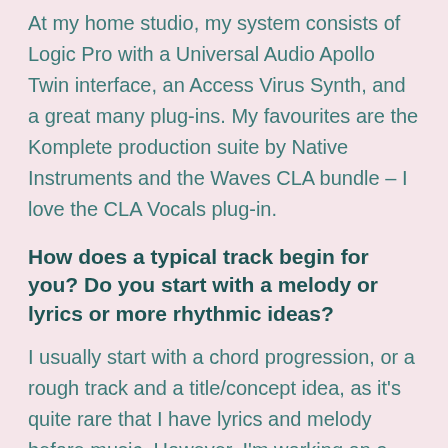At my home studio, my system consists of Logic Pro with a Universal Audio Apollo Twin interface, an Access Virus Synth, and a great many plug-ins. My favourites are the Komplete production suite by Native Instruments and the Waves CLA bundle – I love the CLA Vocals plug-in.
How does a typical track begin for you? Do you start with a melody or lyrics or more rhythmic ideas?
I usually start with a chord progression, or a rough track and a title/concept idea, as it's quite rare that I have lyrics and melody before music. However, I'm working on a childrens' project right now where, somehow, I've started with the full song in my head...